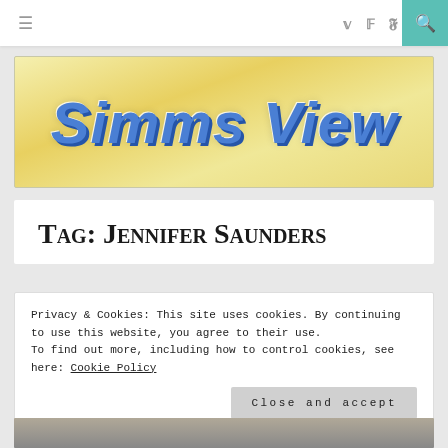≡  𝕥  𝕗  𝕥  🔍
[Figure (logo): Simms View logo on yellow gradient background with blue stylized text]
Tag: Jennifer Saunders
Privacy & Cookies: This site uses cookies. By continuing to use this website, you agree to their use.
To find out more, including how to control cookies, see here: Cookie Policy
Close and accept